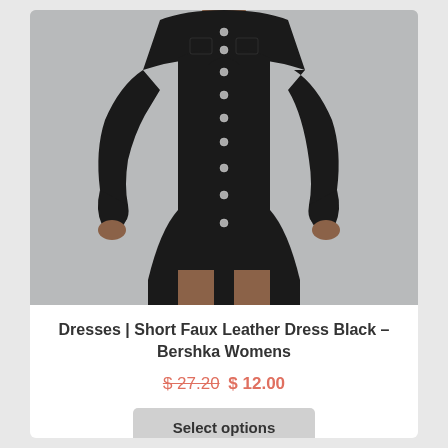[Figure (photo): A woman wearing a short black faux leather button-up dress with long sleeves and silver snap buttons down the front, photographed against a light grey background. Only the torso and legs are visible, not the face.]
Dresses | Short Faux Leather Dress Black – Bershka Womens
$ 27.20 $ 12.00
Select options